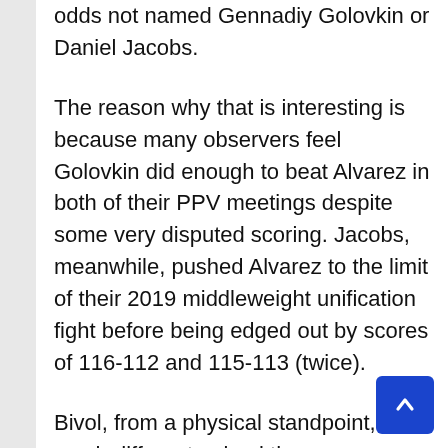odds not named Gennadiy Golovkin or Daniel Jacobs.
The reason why that is interesting is because many observers feel Golovkin did enough to beat Alvarez in both of their PPV meetings despite some very disputed scoring. Jacobs, meanwhile, pushed Alvarez to the limit of their 2019 middleweight unification fight before being edged out by scores of 116-112 and 115-113 (twice).
Bivol, from a physical standpoint, is a much different animal than anyone Alvarez has faced considering his four-inch height advantage mixed with his dominant technical skill crafted throughout a lengthy and decorated amateur career featuring two gold medal victories at the